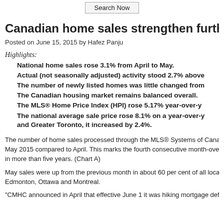Search Now
Canadian home sales strengthen further in
Posted on June 15, 2015 by Hafez Panju
Highlights:
National home sales rose 3.1% from April to May.
Actual (not seasonally adjusted) activity stood 2.7% above
The number of newly listed homes was little changed from
The Canadian housing market remains balanced overall.
The MLS® Home Price Index (HPI) rose 5.17% year-over-y
The national average sale price rose 8.1% on a year-over-y and Greater Toronto, it increased by 2.4%.
The number of home sales processed through the MLS® Systems of Cana May 2015 compared to April. This marks the fourth consecutive month-over- in more than five years. (Chart A)
May sales were up from the previous month in about 60 per cent of all local m Edmonton, Ottawa and Montreal.
"CMHC announced in April that effective June 1 it was hiking mortgage defa